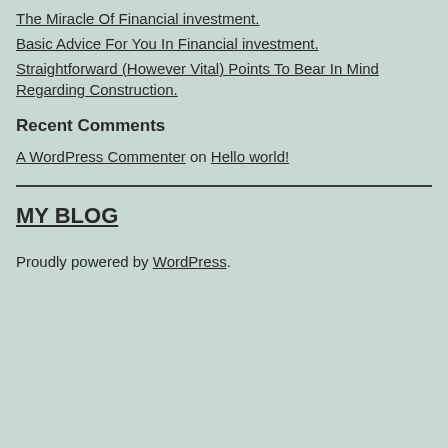The Miracle Of Financial investment.
Basic Advice For You In Financial investment.
Straightforward (However Vital) Points To Bear In Mind Regarding Construction.
Recent Comments
A WordPress Commenter on Hello world!
MY BLOG
Proudly powered by WordPress.